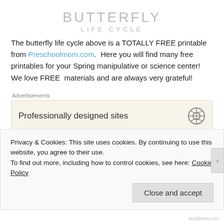BUTTERFLY
LIFE CYCLE
The butterfly life cycle above is a TOTALLY FREE printable from Preschoolmom.com.  Here you will find many free printables for your Spring manipulative or science center! We love FREE  materials and are always very grateful!
Advertisements
[Figure (other): Advertisement box with text 'Professionally designed sites' and a circular logo icon on the right]
Outdoor play...
How wonderful the fresh air is this time of year. We can truly appreciate being outdoors — what a sensory experience it is after being indoors so
Privacy & Cookies: This site uses cookies. By continuing to use this website, you agree to their use.
To find out more, including how to control cookies, see here: Cookie Policy
Close and accept